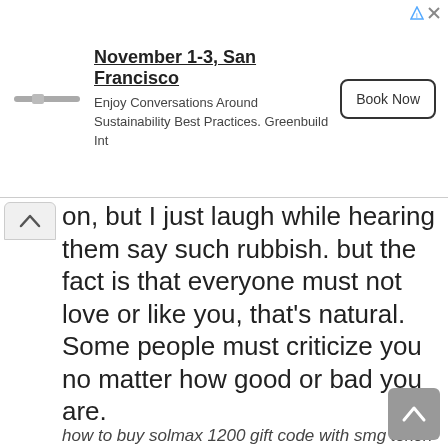[Figure (other): Advertisement banner: November 1-3, San Francisco. Enjoy Conversations Around Sustainability Best Practices. Greenbuild Int. Book Now button.]
on, but I just laugh while hearing them say such rubbish. but the fact is that everyone must not love or like you, that's natural. Some people must criticize you no matter how good or bad you are.
how to buy solmax 1200 gift code with smg token
Solmax group started with i100 where its members bought some of its shares which are popularly called i100 shares meaning igniter 100 shares, where the company used those funds to establish and build some internal like (smg academy, yourent,) and